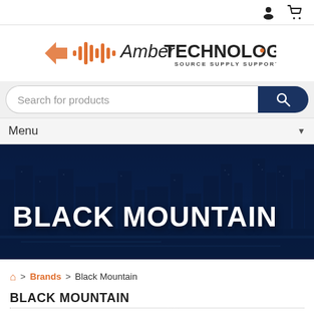[Figure (logo): Amber Technology logo with orange waveform graphic and text 'Amber TECHNOLOGY SOURCE SUPPLY SUPPORT']
Search for products
Menu
[Figure (photo): Dark blue tinted cityscape/skyline banner with text BLACK MOUNTAIN overlaid in bold white]
BLACK MOUNTAIN
🏠 > Brands > Black Mountain
BLACK MOUNTAIN